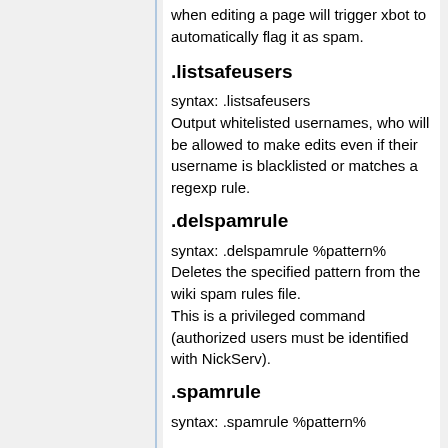when editing a page will trigger xbot to automatically flag it as spam.
.listsafeusers
syntax: .listsafeusers
Output whitelisted usernames, who will be allowed to make edits even if their username is blacklisted or matches a regexp rule.
.delspamrule
syntax: .delspamrule %pattern%
Deletes the specified pattern from the wiki spam rules file.
This is a privileged command (authorized users must be identified with NickServ).
.spamrule
syntax: .spamrule %pattern%